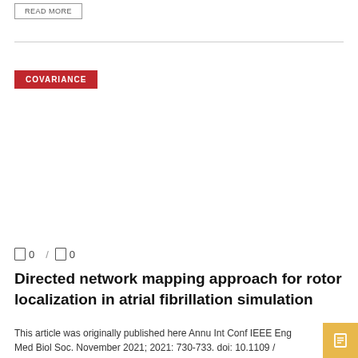READ MORE
COVARIANCE
0  /  0
Directed network mapping approach for rotor localization in atrial fibrillation simulation
This article was originally published here Annu Int Conf IEEE Eng Med Biol Soc. November 2021; 2021: 730-733. doi: 10.1109 / EMBC46164.2021.9629911. ABSTRACT Catheter ablation for